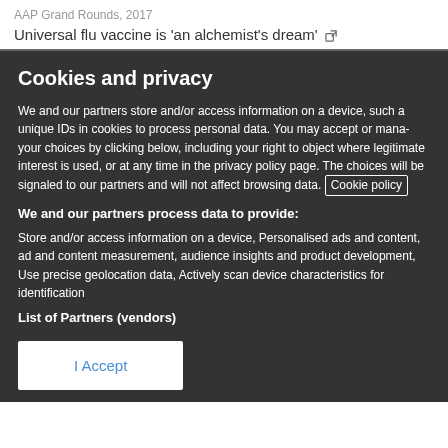AAP Grand Rounds, 2017
Universal flu vaccine is 'an alchemist's dream'
Cookies and privacy
We and our partners store and/or access information on a device, such a unique IDs in cookies to process personal data. You may accept or manage your choices by clicking below, including your right to object where legitimate interest is used, or at any time in the privacy policy page. These choices will be signaled to our partners and will not affect browsing data. Cookie policy
We and our partners process data to provide:
Store and/or access information on a device, Personalised ads and content, ad and content measurement, audience insights and product development, Use precise geolocation data, Actively scan device characteristics for identification
List of Partners (vendors)
I Accept